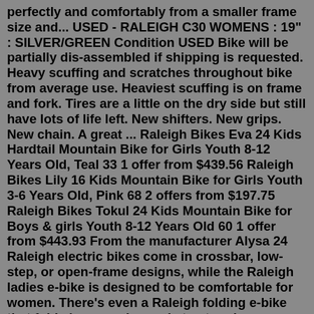perfectly and comfortably from a smaller frame size and... USED - RALEIGH C30 WOMENS : 19" : SILVER/GREEN Condition USED Bike will be partially dis-assembled if shipping is requested. Heavy scuffing and scratches throughout bike from average use. Heaviest scuffing is on frame and fork. Tires are a little on the dry side but still have lots of life left. New shifters. New grips. New chain. A great ... Raleigh Bikes Eva 24 Kids Hardtail Mountain Bike for Girls Youth 8-12 Years Old, Teal 33 1 offer from $439.56 Raleigh Bikes Lily 16 Kids Mountain Bike for Girls Youth 3-6 Years Old, Pink 68 2 offers from $197.75 Raleigh Bikes Tokul 24 Kids Mountain Bike for Boys & girls Youth 8-12 Years Old 60 1 offer from $443.93 From the manufacturer Alysa 24 Raleigh electric bikes come in crossbar, low-step, or open-frame designs, while the Raleigh ladies e-bike is designed to be comfortable for women. There's even a Raleigh folding e-bike that folds in seconds, ready to store in a cupboard or a car boot, or take on a train. Raleigh also offers electric cargo bikes and trikes,